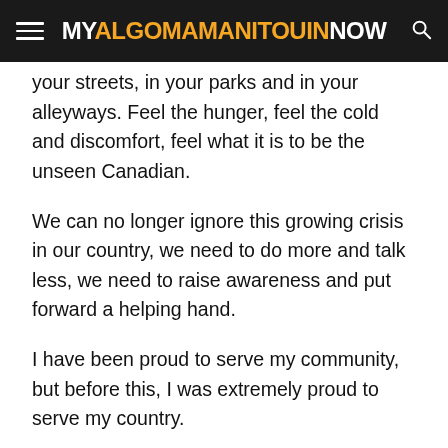MYALGOMAMANITOLINNNOW
your streets, in your parks and in your alleyways. Feel the hunger, feel the cold and discomfort, feel what it is to be the unseen Canadian.
We can no longer ignore this growing crisis in our country, we need to do more and talk less, we need to raise awareness and put forward a helping hand.
I have been proud to serve my community, but before this, I was extremely proud to serve my country.
In other nations, the Canadian flag was a symbol of peace, humanity and charity. If we as a country can afford to give billions of dollars a year in foreign aid and relief, caring for others in countries we may never see, then surely, we can do the same for our own Canadian citizens, our brothers.